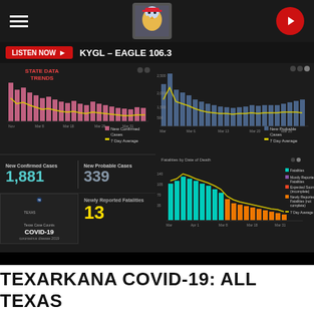[Figure (screenshot): KYGL Eagle 106.3 radio station app header with hamburger menu, eagle mascot logo, and red play button]
LISTEN NOW ▶   KYGL - EAGLE 106.3
[Figure (infographic): Texas COVID-19 State Data Trends dashboard showing: New Confirmed Cases bar chart with 7-day average (pink/rose bars with yellow line), New Probable Cases bar chart (blue bars with yellow line), Fatalities by Date of Death stacked area/bar chart (teal, orange colors with yellow trend line)]
New Confirmed Cases
1,881
New Probable Cases
339
[Figure (screenshot): Texas Department of State Health Services - Texas Case Counts COVID-19 logo/badge]
Newly Reported Fatalities
13
TEXARKANA COVID-19: ALL TEXAS